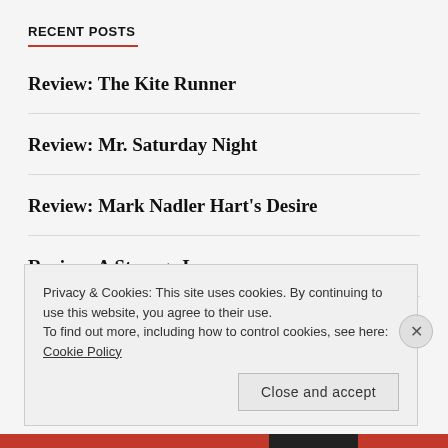RECENT POSTS
Review: The Kite Runner
Review: Mr. Saturday Night
Review: Mark Nadler Hart's Desire
Review: A Strange Loop
Review: Jeff Harnar
Privacy & Cookies: This site uses cookies. By continuing to use this website, you agree to their use.
To find out more, including how to control cookies, see here: Cookie Policy
Close and accept